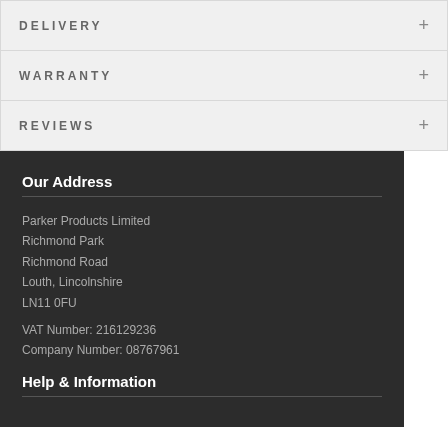DELIVERY
WARRANTY
REVIEWS
Our Address
Parker Products Limited
Richmond Park
Richmond Road
Louth, Lincolnshire
LN11 0FU
VAT Number: 216129236
Company Number: 08767961
Help & Information